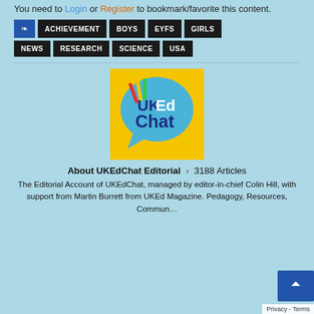You need to Login or Register to bookmark/favorite this content.
ACHIEVEMENT
BOYS
EYFS
GIRLS
NEWS
RESEARCH
SCIENCE
USA
[Figure (logo): UKEdChat logo: yellow square background with a blue speech bubble containing pencils/pens and the text 'UKEd Chat' in dark blue and white]
About UKEdChat Editorial › 3188 Articles
The Editorial Account of UKEdChat, managed by editor-in-chief Colin Hill, with support from Martin Burrett from UKEd Magazine. Pedagogy, Resources, Community...